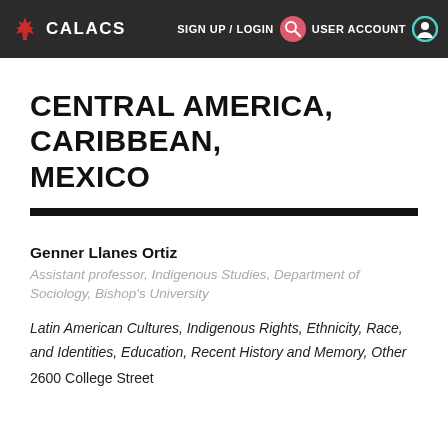CALACS  SIGN UP / LOGIN  USER ACCOUNT
CENTRAL AMERICA, CARIBBEAN, MEXICO
Genner Llanes Ortiz
Assistant professor, Indigenous Studies, Department of Sociology, Bishop's University
Latin American Cultures, Indigenous Rights, Ethnicity, Race, and Identities, Education, Recent History and Memory, Other
2600 College Street